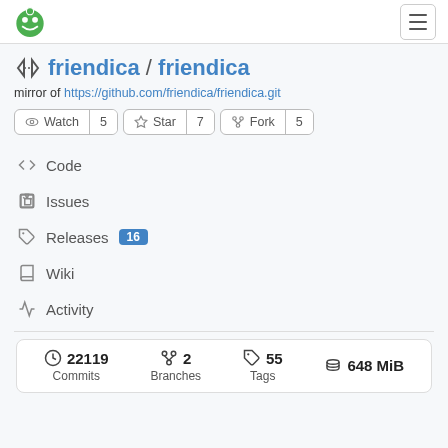Gitea logo and hamburger menu
friendica / friendica
mirror of https://github.com/friendica/friendica.git
Watch 5
Star 7
Fork 5
Code
Issues
Releases 16
Wiki
Activity
22119 Commits  2 Branches  55 Tags  648 MiB